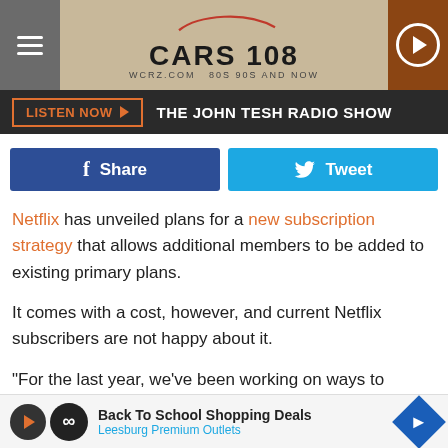[Figure (screenshot): Cars 108 radio station website header with hamburger menu, Cars 108 logo with car silhouette, and play button]
LISTEN NOW ▶  THE JOHN TESH RADIO SHOW
[Figure (infographic): Social sharing buttons: Facebook Share and Twitter Tweet]
Netflix has unveiled plans for a new subscription strategy that allows additional members to be added to existing primary plans.
It comes with a cost, however, and current Netflix subscribers are not happy about it.
"For the last year, we've been working on ways to enable members who share outside their household to do so easily and securely, while also paying a bit more," Chengyi Long, Netflix...ment.
[Figure (screenshot): Advertisement banner: Back To School Shopping Deals - Leesburg Premium Outlets]